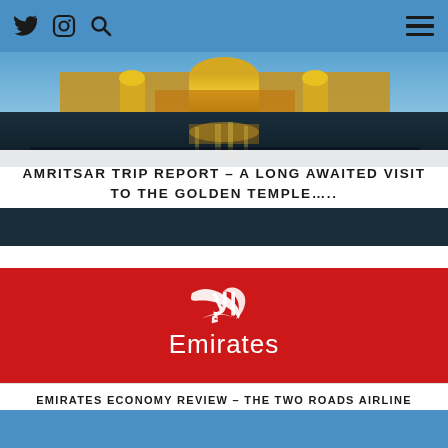Twitter, Instagram, Search icons and hamburger menu
[Figure (photo): Photo of the Golden Temple in Amritsar with golden reflections on water, blue sky in background]
AMRITSAR TRIP REPORT – A LONG AWAITED VISIT TO THE GOLDEN TEMPLE…..
[Figure (logo): Emirates airline logo on red background — white Arabic script above white Emirates text]
EMIRATES ECONOMY REVIEW – THE TWO ROADS AIRLINE REVIEWS